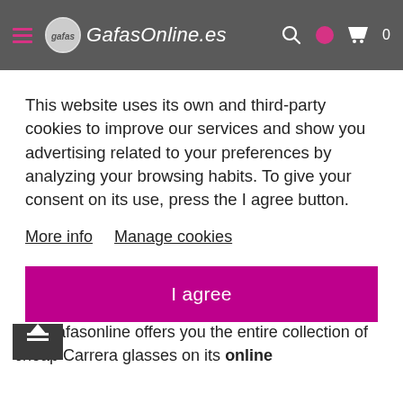GafasOnline.es
This website uses its own and third-party cookies to improve our services and show you advertising related to your preferences by analyzing your browsing habits. To give your consent on its use, press the I agree button.
More info    Manage cookies
I agree
the world of skiing to also being a brand as a renowned urban sunglasses. With Carrera sunglasses you will enjoy both sports and everyday life. Gafasonline offers you the entire collection of cheap Carrera glasses on its online